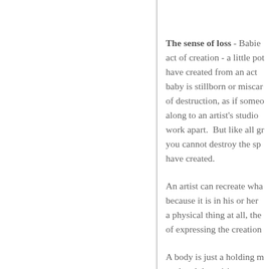The sense of loss - Babies are the ultimate act of creation - a little pot of creation. What you have created from an act of love. When that baby is stillborn or miscarried, it is like an act of destruction, as if someone had come along to an artist's studio and ripped their work apart. But like all great acts of creation, you cannot destroy the spirit of what you have created.
An artist can recreate what has been lost because it is in his or her DNA. If love is not a physical thing at all, the spirit is incapable of expressing the creation.
A body is just a holding mechanism for the soul and the spirit.
We have lost all our understanding...